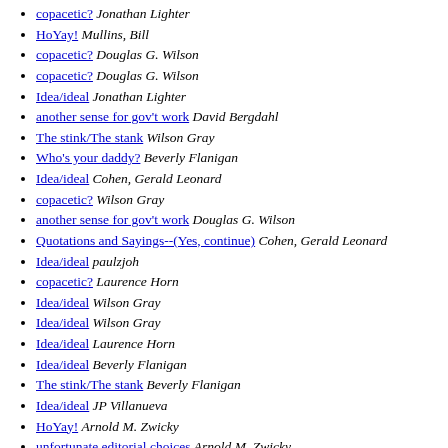copacetic?   Jonathan Lighter
HoYay!   Mullins, Bill
copacetic?   Douglas G. Wilson
copacetic?   Douglas G. Wilson
Idea/ideal   Jonathan Lighter
another sense for gov't work   David Bergdahl
The stink/The stank   Wilson Gray
Who's your daddy?   Beverly Flanigan
Idea/ideal   Cohen, Gerald Leonard
copacetic?   Wilson Gray
another sense for gov't work   Douglas G. Wilson
Quotations and Sayings--(Yes, continue)   Cohen, Gerald Leonard
Idea/ideal   paulzjoh
copacetic?   Laurence Horn
Idea/ideal   Wilson Gray
Idea/ideal   Wilson Gray
Idea/ideal   Laurence Horn
Idea/ideal   Beverly Flanigan
The stink/The stank   Beverly Flanigan
Idea/ideal   JP Villanueva
HoYay!   Arnold M. Zwicky
unfortunate editorial choices   Arnold M. Zwicky
Antedating of "Evidentiary"   Fred Shapiro
Idea/ideal   Wilson Gray